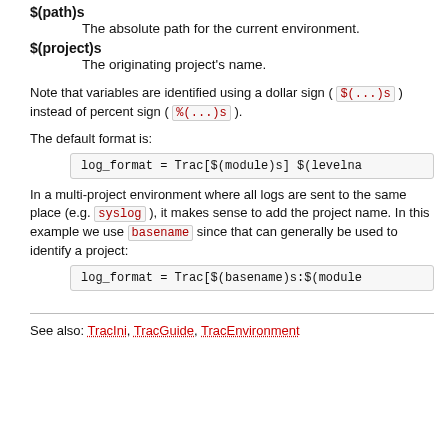$(path)s
    The absolute path for the current environment.
$(project)s
    The originating project's name.
Note that variables are identified using a dollar sign ( $(...)s ) instead of percent sign ( %(...)s ).
The default format is:
log_format = Trac[$(module)s] $(levelna
In a multi-project environment where all logs are sent to the same place (e.g. syslog ), it makes sense to add the project name. In this example we use basename since that can generally be used to identify a project:
log_format = Trac[$(basename)s:$(module
See also: TracIni, TracGuide, TracEnvironment